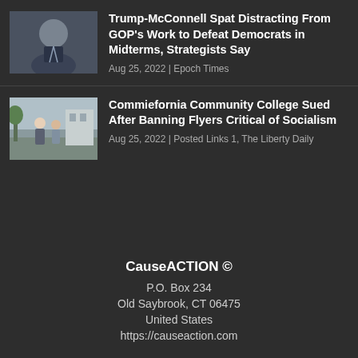[Figure (photo): Headshot of a man in a suit]
Trump-McConnell Spat Distracting From GOP's Work to Defeat Democrats in Midterms, Strategists Say
Aug 25, 2022 | Epoch Times
[Figure (photo): Two people standing outdoors on a campus]
Commiefornia Community College Sued After Banning Flyers Critical of Socialism
Aug 25, 2022 | Posted Links 1, The Liberty Daily
CauseACTION © P.O. Box 234 Old Saybrook, CT 06475 United States https://causeaction.com